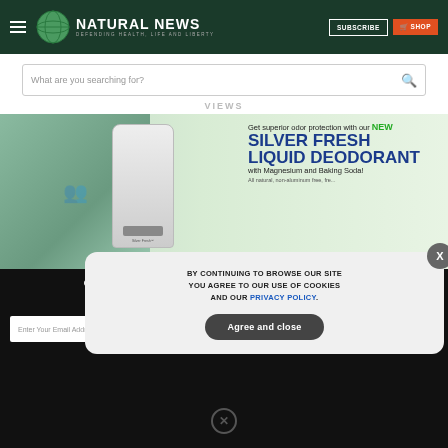Natural News — Defending Health, Life and Liberty
What are you searching for?
VIEWS
[Figure (photo): Advertisement banner for Silver Fresh Liquid Deodorant with group of people and product image. Text: Get superior odor protection with our NEW SILVER FRESH LIQUID DEODORANT with Magnesium and Baking Soda!]
GET THE WORLD'S BEST NATURAL HEALTH NEWSLETTER DELIVERED STRAIGHT TO YOUR INBOX
Enter Your Email Address
SUBSCRIBE
BY CONTINUING TO BROWSE OUR SITE YOU AGREE TO OUR USE OF COOKIES AND OUR PRIVACY POLICY.
Agree and close